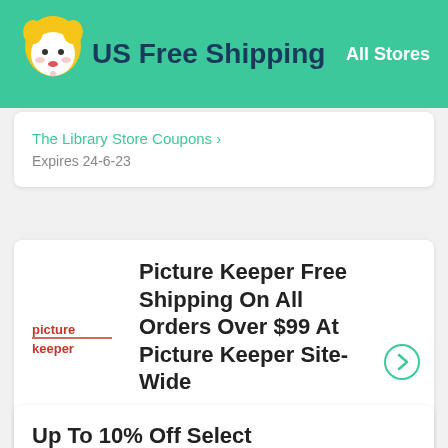US Free Shipping — All Stores
The Library Store Coupons >
Expires 24-6-23
Picture Keeper Free Shipping On All Orders Over $99 At Picture Keeper Site-Wide
DEALS
Picture Keeper Coupons >
Expires 30-10-22
Up To 10% Off Select